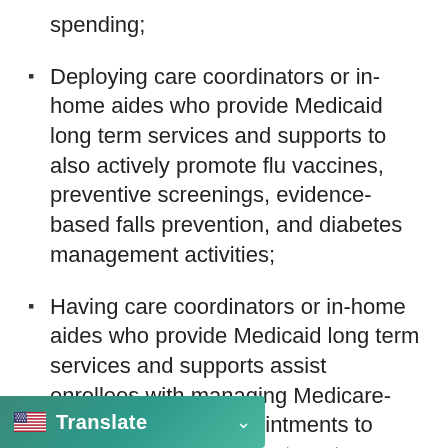spending;
Deploying care coordinators or in-home aides who provide Medicaid long term services and supports to also actively promote flu vaccines, preventive screenings, evidence-based falls prevention, and diabetes management activities;
Having care coordinators or in-home aides who provide Medicaid long term services and supports assist enrollees with managing Medicare-covered medical appointments to help reduce missed treatments;
Training in-home aides – who often clients – on meal iduals with nutrition-